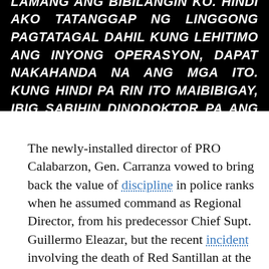[Figure (other): Black background image with bold italic white uppercase text in Filipino/Tagalog: SINABI KO RIN SA INYO NA IKAW LAMANG ANG BIBILANGIN KO. HINDI AKO TATANGGAP NG LINGGONG PAGTATAGAL DAHIL KUNG LEHITIMO ANG INYONG OPERASYON, DAPAT NAKAHANDA NA ANG MGA ITO. KUNG HINDI PA RIN ITO MAIBIBIGAY, IBIG SABIHIN DINODOKTOR PA ANG EBIDENSIYA.]
The newly-installed director of PRO Calabarzon, Gen. Carranza vowed to bring back the value of discipline in police ranks when he assumed command as Regional Director, from his predecessor Chief Supt. Guillermo Eleazar, but the recent incident involving the death of Red Santillan at the hands of police under command is a big blow to his leadership